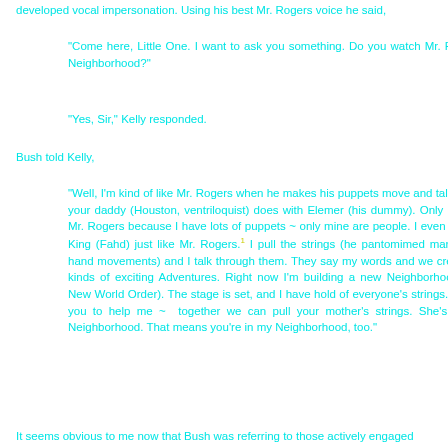developed vocal impersonation. Using his best Mr. Rogers voice he said,
"Come here, Little One. I want to ask you something. Do you watch Mr. Rogers' Neighborhood?"
"Yes, Sir," Kelly responded.
Bush told Kelly,
"Well, I'm kind of like Mr. Rogers when he makes his puppets move and talk ~ like your daddy (Houston, ventriloquist) does with Elemer (his dummy). Only I'm like Mr. Rogers because I have lots of puppets ~ only mine are people. I even have a King (Fahd) just like Mr. Rogers.¹ I pull the strings (he pantomimed marionette hand movements) and I talk through them. They say my words and we create all kinds of exciting Adventures. Right now I'm building a new Neighborhood (the New World Order). The stage is set, and I have hold of everyone's strings. I need you to help me ~  together we can pull your mother's strings. She's in my Neighborhood. That means you're in my Neighborhood, too."
It seems obvious to me now that Bush was referring to those actively engaged